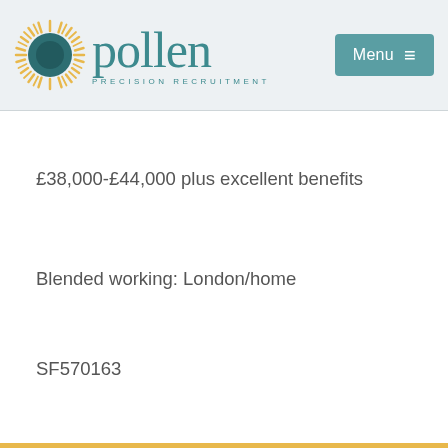pollen PRECISION RECRUITMENT — Menu
£38,000-£44,000 plus excellent benefits
Blended working: London/home
SF570163